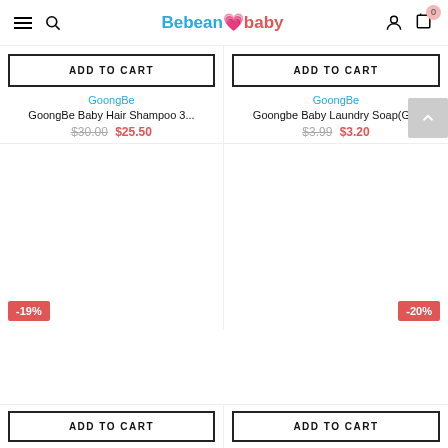Bebean baby — navigation header with hamburger menu, search, user, and cart (0 items)
ADD TO CART (left product)
ADD TO CART (right product)
GoongBe
GoongBe Baby Hair Shampoo 3...
$30.00  $25.50
GoongBe
Goongbe Baby Laundry Soap(G...
$3.99  $3.20
-19%
-20%
ADD TO CART (bottom left)
ADD TO CART (bottom right)